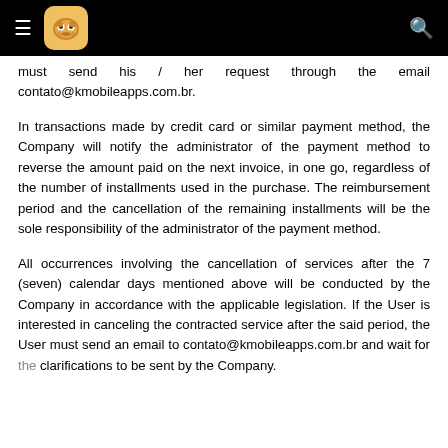≡ [logo] [search]
must send his / her request through the email contato@kmobileapps.com.br.
In transactions made by credit card or similar payment method, the Company will notify the administrator of the payment method to reverse the amount paid on the next invoice, in one go, regardless of the number of installments used in the purchase. The reimbursement period and the cancellation of the remaining installments will be the sole responsibility of the administrator of the payment method.
All occurrences involving the cancellation of services after the 7 (seven) calendar days mentioned above will be conducted by the Company in accordance with the applicable legislation. If the User is interested in canceling the contracted service after the said period, the User must send an email to contato@kmobileapps.com.br and wait for the clarifications to be sent by the Company.